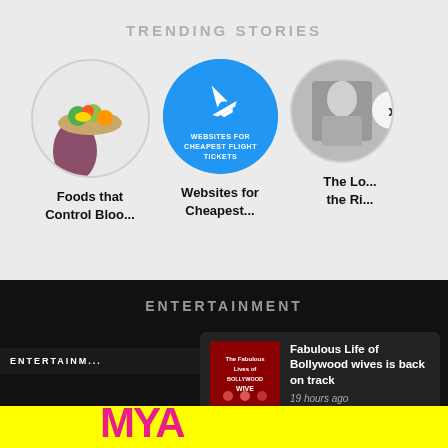TRENDING STORIES
[Figure (screenshot): Circular thumbnail of food bowl held in hand]
Foods that Control Bloo...
[Figure (infographic): Blue circle with airplane icon and text WEBSITES FOR CHEAPEST FLIGHT TICKETS]
Websites for Cheapest...
[Figure (photo): Partial circular thumbnail of person in armor, with right arrow button]
The Lo... the Ri...
ENTERTAINMENT
x
ENTERTAINM...
[Figure (screenshot): Notification popup showing thumbnail of Bollywood Wives show with text: Fabulous Life of Bollywood wives is back on track, 19 hours ago]